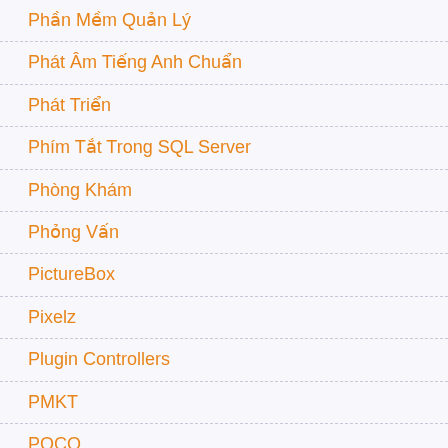Phần Mềm Quản Lý
Phát Âm Tiếng Anh Chuẩn
Phát Triển
Phím Tắt Trong SQL Server
Phòng Khám
Phỏng Vấn
PictureBox
Pixelz
Plugin Controllers
PMKT
POCO
POCO Class Generator
Post JSON Data Using JQuery
PostgreSQL
PostgreSQL Config